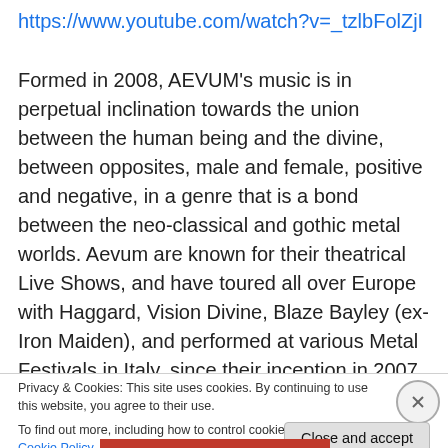https://www.youtube.com/watch?v=_tzlbFolZjI
Formed in 2008, AEVUM's music is in perpetual inclination towards the union between the human being and the divine, between opposites, male and female, positive and negative, in a genre that is a bond between the neo-classical and gothic metal worlds. Aevum are known for their theatrical Live Shows, and have toured all over Europe with Haggard, Vision Divine, Blaze Bayley (ex-Iron Maiden), and performed at various Metal Festivals in Italy, since their inception in 2007. Aevum also performed at last
Privacy & Cookies: This site uses cookies. By continuing to use this website, you agree to their use.
To find out more, including how to control cookies, see here: Cookie Policy
Close and accept